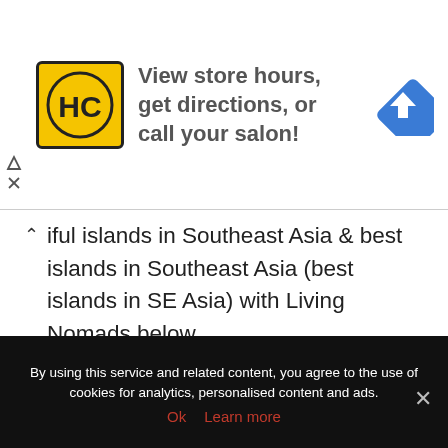[Figure (screenshot): Advertisement banner: HC Salon logo (yellow background with black HC letters), text 'View store hours, get directions, or call your salon!', blue navigation/directions diamond icon, with close controls (play arrow and X) on the left side.]
iful islands in Southeast Asia & best islands in Southeast Asia (best islands in SE Asia) with Living Nomads below.
Top beaches in Phuket — Top 8 best beaches in Phuket you should not miss
Railay travel guide — The fullest guide for a trip to railay beach, Thailand
By using this service and related content, you agree to the use of cookies for analytics, personalised content and ads.
Ok    Learn more